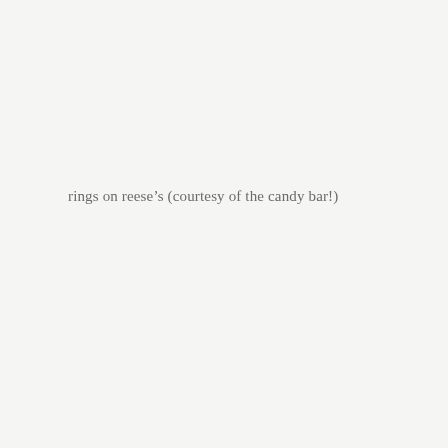rings on reese's (courtesy of the candy bar!)